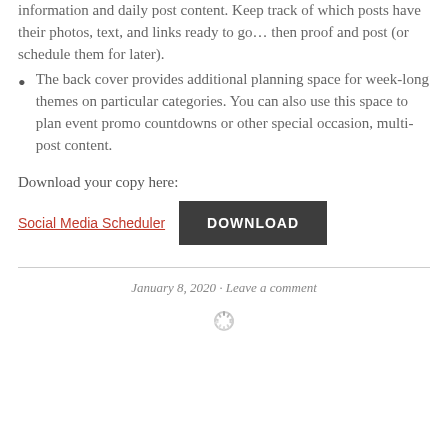The inside pages provide space to write in monthly information and daily post content. Keep track of which posts have their photos, text, and links ready to go… then proof and post (or schedule them for later).
The back cover provides additional planning space for week-long themes on particular categories. You can also use this space to plan event promo countdowns or other special occasion, multi-post content.
Download your copy here:
Social Media Scheduler   DOWNLOAD
January 8, 2020 · Leave a comment